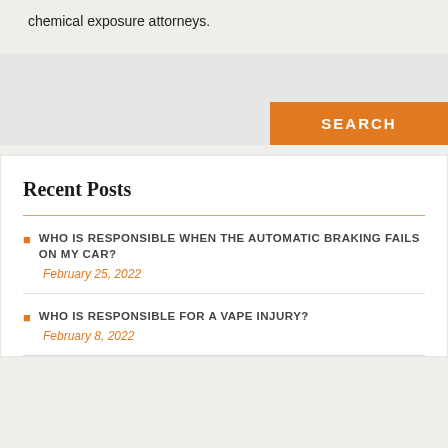chemical exposure attorneys.
Recent Posts
WHO IS RESPONSIBLE WHEN THE AUTOMATIC BRAKING FAILS ON MY CAR?
February 25, 2022
WHO IS RESPONSIBLE FOR A VAPE INJURY?
February 8, 2022